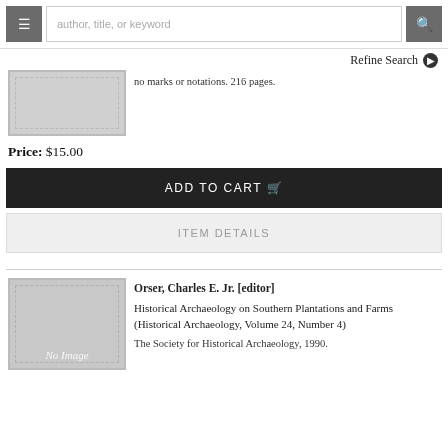author, title, or keyword | Refine Search
no marks or notations. 216 pages.
Price: $15.00
ADD TO CART
ITEM DETAILS
Orser, Charles E. Jr. [editor]
Historical Archaeology on Southern Plantations and Farms (Historical Archaeology, Volume 24, Number 4)
The Society for Historical Archaeology, 1990.